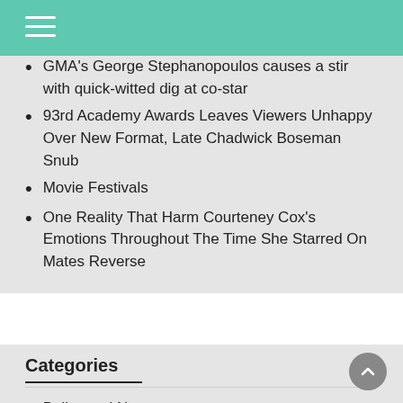Navigation menu header bar
GMA's George Stephanopoulos causes a stir with quick-witted dig at co-star
93rd Academy Awards Leaves Viewers Unhappy Over New Format, Late Chadwick Boseman Snub
Movie Festivals
One Reality That Harm Courteney Cox's Emotions Throughout The Time She Starred On Mates Reverse
Categories
Bollywood News
Celebrity News
Entertainment Movie